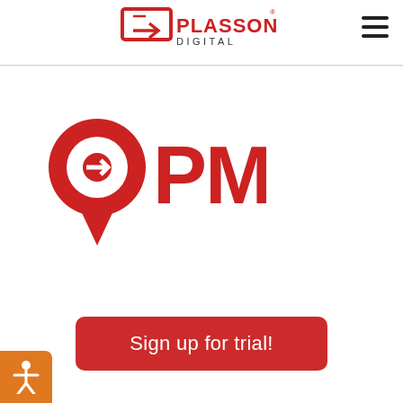PLASSON DIGITAL
[Figure (logo): QPM logo in red — a location pin icon with a 'Q' shape combined with the letters 'PM' in bold red text]
[Figure (other): Sign up for trial! button — red rounded rectangle with white text]
[Figure (other): Orange accessibility icon button in bottom-left corner with white stick figure]